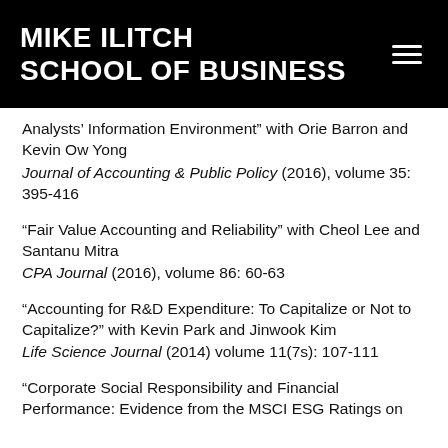MIKE ILITCH SCHOOL OF BUSINESS
Analysts’ Information Environment” with Orie Barron and Kevin Ow Yong
Journal of Accounting & Public Policy (2016), volume 35: 395-416
“Fair Value Accounting and Reliability” with Cheol Lee and Santanu Mitra
CPA Journal (2016), volume 86: 60-63
“Accounting for R&D Expenditure: To Capitalize or Not to Capitalize?” with Kevin Park and Jinwook Kim
Life Science Journal (2014) volume 11(7s): 107-111
“Corporate Social Responsibility and Financial Performance: Evidence from the MSCI ESG Ratings on